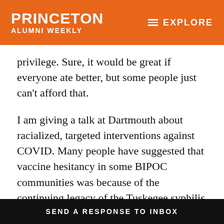PRINCETON ALUMNI WEEKLY | EXPLORE
privilege. Sure, it would be great if everyone ate better, but some people just can't afford that.
I am giving a talk at Dartmouth about racialized, targeted interventions against COVID. Many people have suggested that vaccine hesitancy in some BIPOC communities was because of the continuing legacy of the Tuskegee syphilis study, which
SEND A RESPONSE TO INBOX